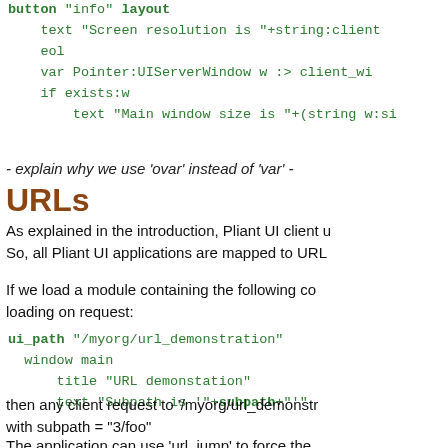button "info" layout
    text "Screen resolution is "+string:client...
    eol
    var Pointer:UIServerWindow w :> client_wi...
    if exists:w
        text "Main window size is "+(string w:si...
- explain why we use 'ovar' instead of 'var' -
URLs
As explained in the introduction, Pliant UI client u... So, all Pliant UI applications are mapped to URL...
If we load a module containing the following cod... loading on request:
ui_path "/myorg/url_demonstration"
  window main
      title "URL demonstation"
      text "Subpath is '"+subpath+"'"
then any client request to '/myorg/url_demonstr... with subpath = "3/foo"
The application can use 'url_jump' to force the...